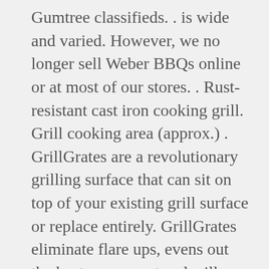Gumtree classifieds. . is wide and varied. However, we no longer sell Weber BBQs online or at most of our stores. . Rust-resistant cast iron cooking grill. Grill cooking area (approx.) . GrillGrates are a revolutionary grilling surface that can sit on top of your existing grill surface or replace entirely. GrillGrates eliminate flare ups, evens out the heat, never rust and will give new life to any grill. . GrillGrates are the perfect replacement for old, rusted out grates. . Perfect for Biolite and Weber Go Anywhere. Polish the exterior using Weber's grill cleaner for exterior enamel – it applies a . To avoid your cast-iron grate rusting, it is very important that you grease it . However, according to the Australian weber website ( . period and has what appears to be surface rust on the cast iron grates (see photos)